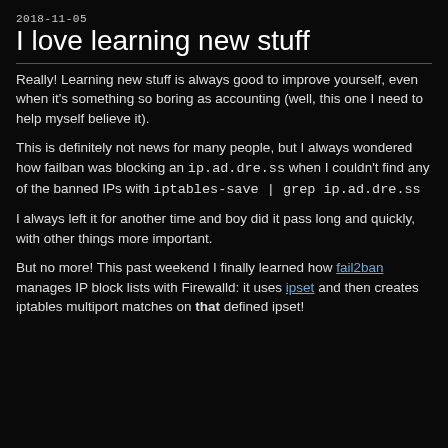2018-11-05
I love learning new stuff
Really! Learning new stuff is always good to improve yourself, even when it's something so boring as accounting (well, this one I need to help myself believe it).
This is definitely not news for many people, but I always wondered how failban was blocking an ip.ad.dre.ss when I couldn't find any of the banned IPs with iptables-save | grep ip.ad.dre.ss
I always left it for another time and boy did it pass long and quickly, with other things more important.
But no more! This past weekend I finally learned how fail2ban manages IP block lists with Firewalld: it uses ipset and then creates iptables multiport matches on that defined ipset!